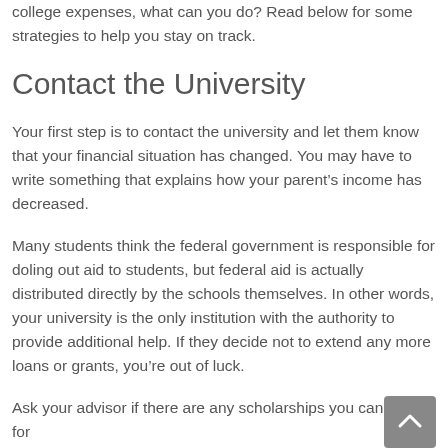college expenses, what can you do? Read below for some strategies to help you stay on track.
Contact the University
Your first step is to contact the university and let them know that your financial situation has changed. You may have to write something that explains how your parent’s income has decreased.
Many students think the federal government is responsible for doling out aid to students, but federal aid is actually distributed directly by the schools themselves. In other words, your university is the only institution with the authority to provide additional help. If they decide not to extend any more loans or grants, you’re out of luck.
Ask your advisor if there are any scholarships you can apply for